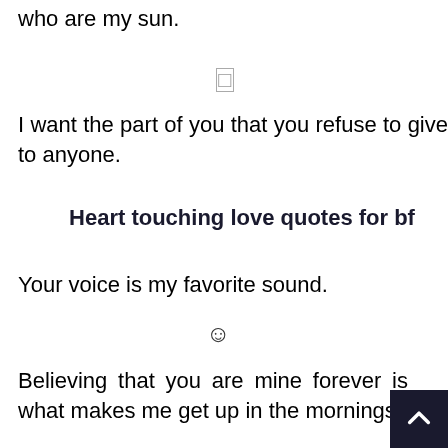who are my sun.
☐
I want the part of you that you refuse to give to anyone.
Heart touching love quotes for bf
Your voice is my favorite sound.
☺
Believing that you are mine forever is what makes me get up in the mornings.